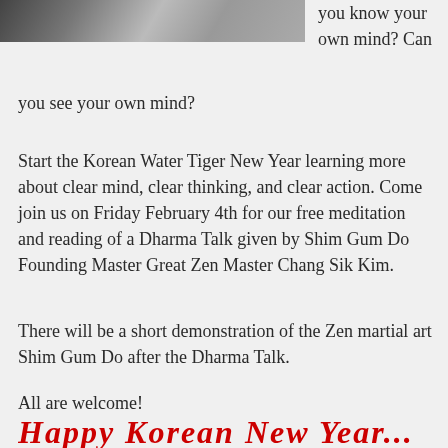[Figure (photo): Partial photo strip at top showing a snowy or outdoor scene in grayscale, cropped at top of page]
you know your own mind? Can you see your own mind?
Start the Korean Water Tiger New Year learning more about clear mind, clear thinking, and clear action. Come join us on Friday February 4th for our free meditation and reading of a Dharma Talk given by Shim Gum Do Founding Master Great Zen Master Chang Sik Kim.
There will be a short demonstration of the Zen martial art Shim Gum Do after the Dharma Talk.
All are welcome!
Happy Korean New Year (stylized red italic text, partially visible at bottom)